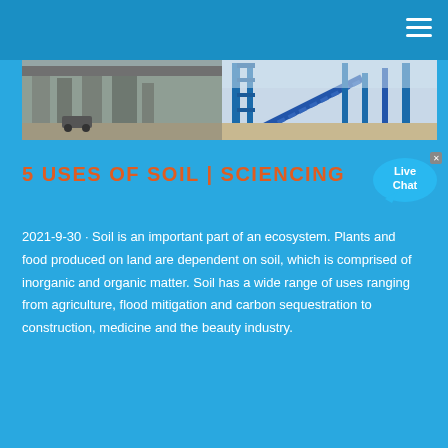[Figure (photo): Industrial facility with concrete structures, blue steel framework, conveyor belts and mining or construction equipment in an arid setting.]
5 USES OF SOIL | SCIENCING
2021-9-30 · Soil is an important part of an ecosystem. Plants and food produced on land are dependent on soil, which is comprised of inorganic and organic matter. Soil has a wide range of uses ranging from agriculture, flood mitigation and carbon sequestration to construction, medicine and the beauty industry.